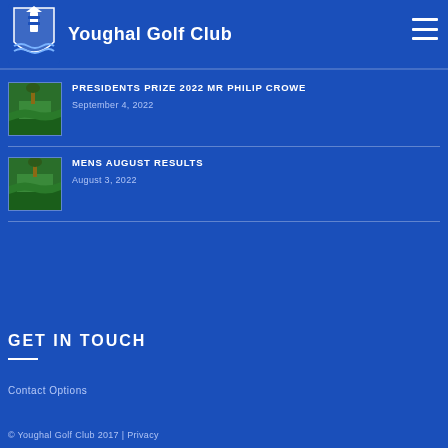LATEST NEWS
Youghal Golf Club
PRESIDENTS PRIZE 2022 MR PHILIP CROWE
September 4, 2022
MENS AUGUST RESULTS
August 3, 2022
GET IN TOUCH
Contact Options
© Youghal Golf Club 2017 | Privacy